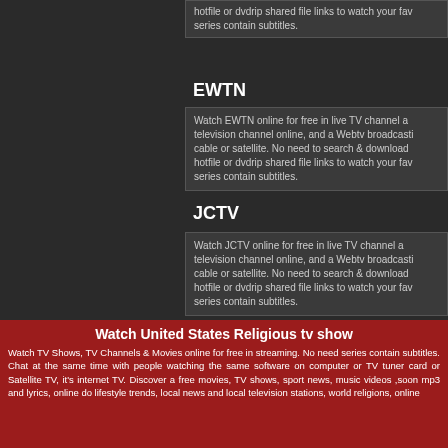hotfile or dvdrip shared file links to watch your fav series contain subtitles.
EWTN
Watch EWTN online for free in live TV channel a television channel online, and a Webtv broadcasti cable or satellite. No need to search & download hotfile or dvdrip shared file links to watch your fav series contain subtitles.
JCTV
Watch JCTV online for free in live TV channel a television channel online, and a Webtv broadcasti cable or satellite. No need to search & download hotfile or dvdrip shared file links to watch your fav series contain subtitles.
Watch United States Religious tv show
Watch TV Shows, TV Channels & Movies online for free in streaming. No need series contain subtitles. Chat at the same time with people watching the same software on computer or TV tuner card or Satellite TV, it's internet TV. Discover a free movies, TV shows, sport news, music videos ,soon mp3 and lyrics, online do lifestyle trends, local news and local television stations, world religions, online